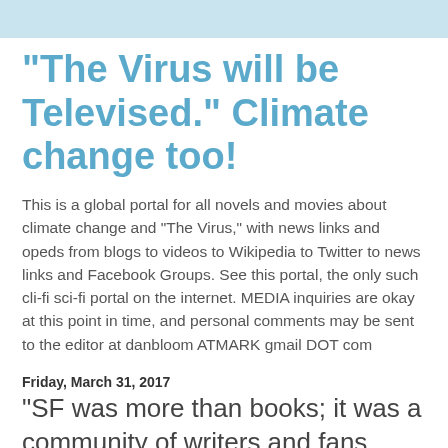"The Virus will be Televised." Climate change too!
This is a global portal for all novels and movies about climate change and "The Virus," with news links and opeds from blogs to videos to Wikipedia to Twitter to news links and Facebook Groups. See this portal, the only such cli-fi sci-fi portal on the internet. MEDIA inquiries are okay at this point in time, and personal comments may be sent to the editor at danbloom ATMARK gmail DOT com
Friday, March 31, 2017
"SF was more than books; it was a community of writers and fans, with its own conventions and ‘zines and even a